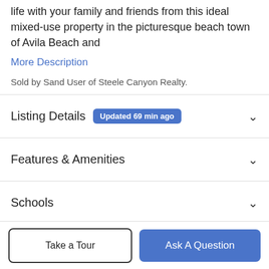life with your family and friends from this ideal mixed-use property in the picturesque beach town of Avila Beach and
More Description
Sold by Sand User of Steele Canyon Realty.
Listing Details  Updated 69 min ago
Features & Amenities
Schools
Payment Calculator
Take a Tour
Ask A Question